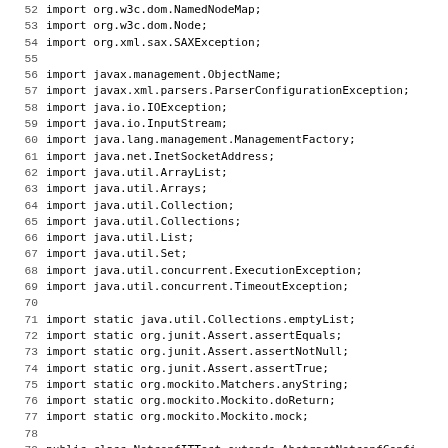Source code listing, lines 52-83, Java imports and class declaration for NetconfITTest
52  import org.w3c.dom.NamedNodeMap;
53  import org.w3c.dom.Node;
54  import org.xml.sax.SAXException;
55
56  import javax.management.ObjectName;
57  import javax.xml.parsers.ParserConfigurationException;
58  import java.io.IOException;
59  import java.io.InputStream;
60  import java.lang.management.ManagementFactory;
61  import java.net.InetSocketAddress;
62  import java.util.ArrayList;
63  import java.util.Arrays;
64  import java.util.Collection;
65  import java.util.Collections;
66  import java.util.List;
67  import java.util.Set;
68  import java.util.concurrent.ExecutionException;
69  import java.util.concurrent.TimeoutException;
70
71  import static java.util.Collections.emptyList;
72  import static org.junit.Assert.assertEquals;
73  import static org.junit.Assert.assertNotNull;
74  import static org.junit.Assert.assertTrue;
75  import static org.mockito.Matchers.anyString;
76  import static org.mockito.Mockito.doReturn;
77  import static org.mockito.Mockito.mock;
78
79  public class NetconfITTest extends AbstractNetconfConfi
80
81      // TODO refactor, pull common code up to AbstractNe
82
83      private static final Logger logger = LoggerFactory.